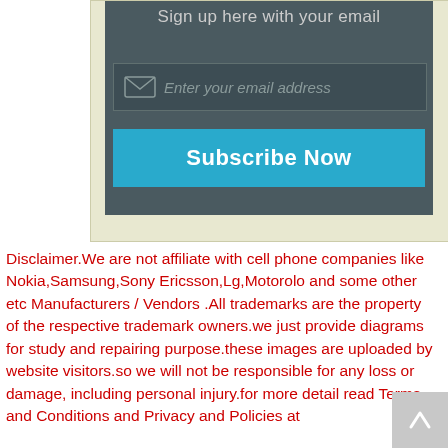Sign up here with your email
[Figure (screenshot): Email signup widget with dark background, email input field with envelope icon and placeholder 'Enter your email address', and a cyan 'Subscribe Now' button]
Disclaimer.We are not affiliate with cell phone companies like Nokia,Samsung,Sony Ericsson,Lg,Motorolo and some other etc Manufacturers / Vendors .All trademarks are the property of the respective trademark owners.we just provide diagrams for study and repairing purpose.these images are uploaded by website visitors.so we will not be responsible for any loss or damage, including personal injury.for more detail read Terms and Conditions and Privacy and Policies at